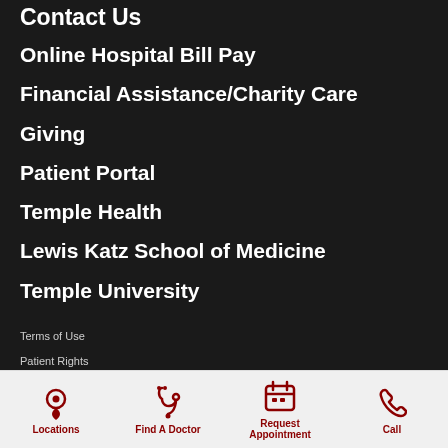Contact Us
Online Hospital Bill Pay
Financial Assistance/Charity Care
Giving
Patient Portal
Temple Health
Lewis Katz School of Medicine
Temple University
Terms of Use
Patient Rights
Privacy & Non-Discrimination Notices
TUHS Vendor Policies & Procedures
[Figure (infographic): Bottom navigation bar with four icons and labels: Locations (map pin icon), Find A Doctor (stethoscope icon), Request Appointment (calendar icon), Call (phone icon), all in dark red color on light gray background]